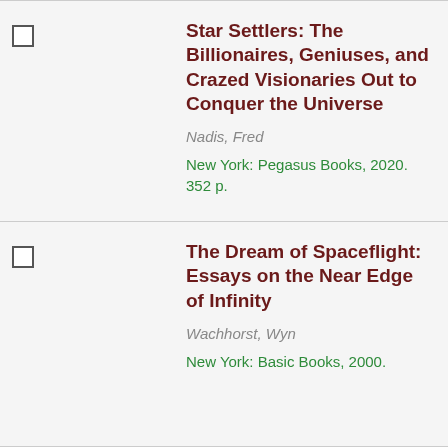Star Settlers: The Billionaires, Geniuses, and Crazed Visionaries Out to Conquer the Universe — Nadis, Fred — New York: Pegasus Books, 2020. 352 p.
The Dream of Spaceflight: Essays on the Near Edge of Infinity — Wachhorst, Wyn — New York: Basic Books, 2000.